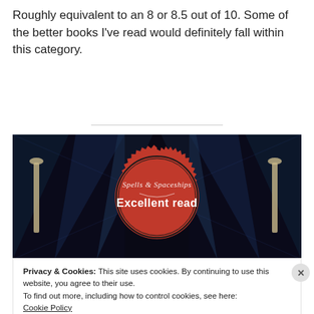Roughly equivalent to an 8 or 8.5 out of 10. Some of the better books I've read would definitely fall within this category.
[Figure (illustration): Dark sci-fi background with a red badge/seal stamp reading 'Spells & Spaceships' and 'Excellent read']
Privacy & Cookies: This site uses cookies. By continuing to use this website, you agree to their use.
To find out more, including how to control cookies, see here: Cookie Policy
Close and accept